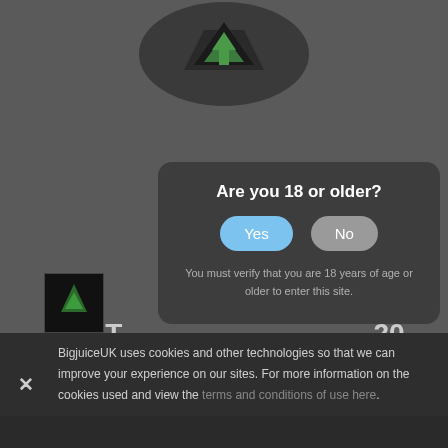[Figure (screenshot): Background of a website showing a dark star/logo graphic at the top center, partially visible behind a modal overlay]
Are you 18 or older?
Yes
No
You must verify that you are 18 years of age or older to enter this site.
WOT
20...
BigjuiceUK uses cookies and other technologies so that we can improve your experience on our sites. For more information on the cookies used and view the terms and conditions of use here.